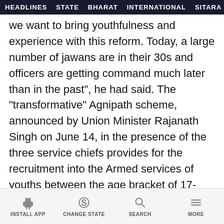HEADLINES  STATE  BHARAT  INTERNATIONAL  SITARA  GA...
we want to bring youthfulness and experience with this reform. Today, a large number of jawans are in their 30s and officers are getting command much later than in the past", he had said. The "transformative" Agnipath scheme, announced by Union Minister Rajanath Singh on June 14, in the presence of the three service chiefs provides for the recruitment into the Armed services of youths between the age bracket of 17-and-a-half-years to 21 for only four years with a provision to retain 25 per cent of them for 15 more years. The Centre later extended the upper age limit to 23 years for recruitment in 2022.
INSTALL APP  CHANGE STATE  SEARCH  MORE